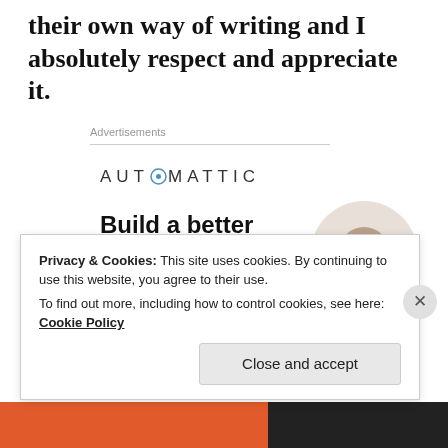their own way of writing and I absolutely respect and appreciate it.
Advertisements
[Figure (logo): Automattic logo with a circular icon replacing the letter O]
[Figure (infographic): Automattic advertisement: 'Build a better web and a better world.' with an Apply button and a circular photo of a man thinking]
Privacy & Cookies: This site uses cookies. By continuing to use this website, you agree to their use.
To find out more, including how to control cookies, see here: Cookie Policy
Close and accept